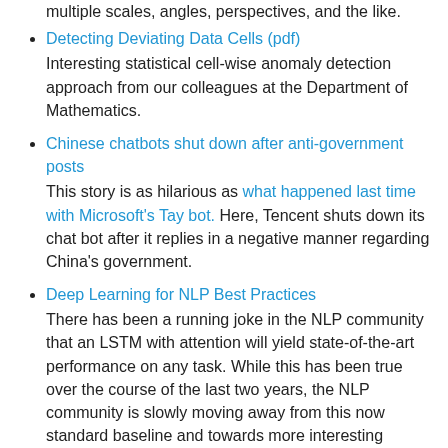multiple scales, angles, perspectives, and the like.
Detecting Deviating Data Cells (pdf)
Interesting statistical cell-wise anomaly detection approach from our colleagues at the Department of Mathematics.
Chinese chatbots shut down after anti-government posts
This story is as hilarious as what happened last time with Microsoft’s Tay bot. Here, Tencent shuts down its chat bot after it replies in a negative manner regarding China’s government.
Deep Learning for NLP Best Practices
There has been a running joke in the NLP community that an LSTM with attention will yield state-of-the-art performance on any task. While this has been true over the course of the last two years, the NLP community is slowly moving away from this now standard baseline and towards more interesting models.
Agents that imagine and plan
Imagining the consequences of your actions